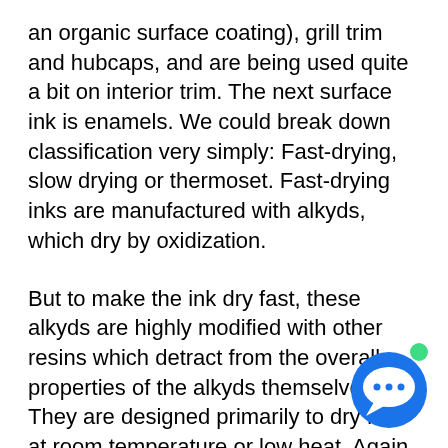an organic surface coating), grill trim and hubcaps, and are being used quite a bit on interior trim. The next surface ink is enamels. We could break down classification very simply: Fast-drying, slow drying or thermoset. Fast-drying inks are manufactured with alkyds, which dry by oxidization.
But to make the ink dry fast, these alkyds are highly modified with other resins which detract from the overall properties of the alkyds themselves. They are designed primarily to dry fast at room temperature or low heat. Again, they should not be subjected to extremely high baking cycles. They are similar in physical properties to the lacquers; in that they have limited exterior durability. Because they do contain a percentage of alkyds, they will last longer than nitrocellulose; one year is the most you should expect. They
[Figure (other): Chat bubble icon with green notification dot in bottom right corner of page]